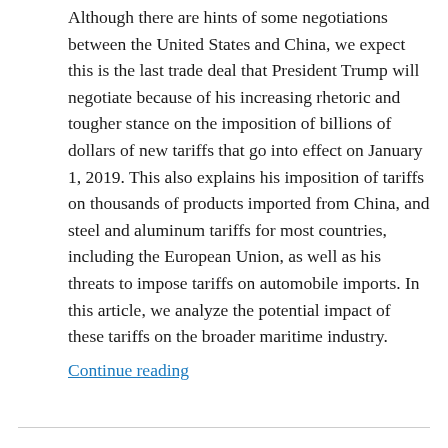Although there are hints of some negotiations between the United States and China, we expect this is the last trade deal that President Trump will negotiate because of his increasing rhetoric and tougher stance on the imposition of billions of dollars of new tariffs that go into effect on January 1, 2019. This also explains his imposition of tariffs on thousands of products imported from China, and steel and aluminum tariffs for most countries, including the European Union, as well as his threats to impose tariffs on automobile imports. In this article, we analyze the potential impact of these tariffs on the broader maritime industry.
Continue reading